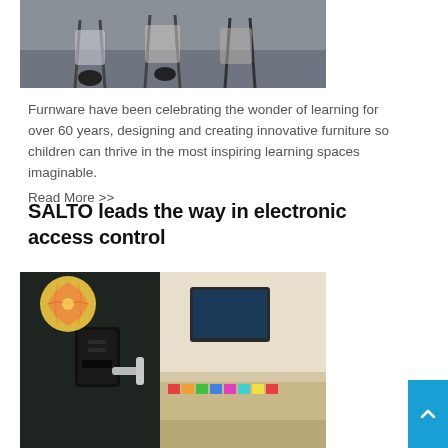[Figure (photo): Partial view of students sitting at school desks/chairs, cropped at top of page]
Furnware have been celebrating the wonder of learning for over 60 years, designing and creating innovative furniture so children can thrive in the most inspiring learning spaces imaginable.
Read More >>
SALTO leads the way in electronic access control
[Figure (photo): Close-up of an electronic door lock/access control handle mounted on a dark door, with a blurred classroom background showing a TV screen and colorful items on a desk]